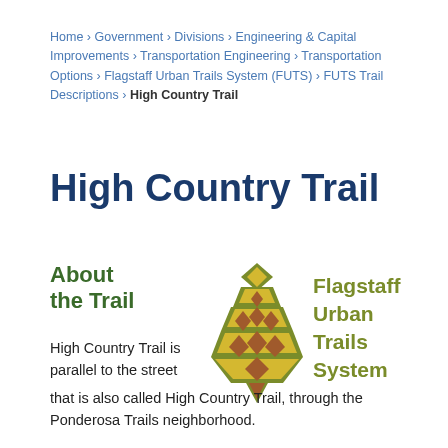Home › Government › Divisions › Engineering & Capital Improvements › Transportation Engineering › Transportation Options › Flagstaff Urban Trails System (FUTS) › FUTS Trail Descriptions › High Country Trail
High Country Trail
About the Trail
[Figure (logo): Flagstaff Urban Trails System (FUTS) logo with stylized tree/arrow graphic in olive green, gold, and brown, with text 'Flagstaff Urban Trails System']
High Country Trail is parallel to the street that is also called High Country Trail, through the Ponderosa Trails neighborhood.